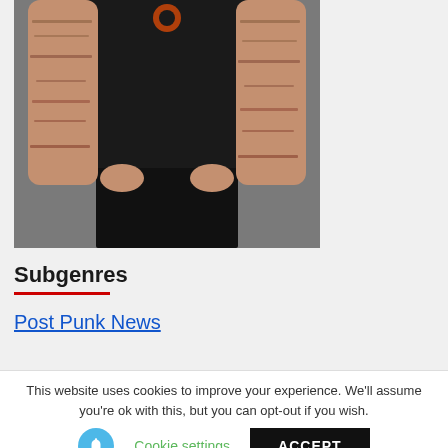[Figure (photo): A muscular man with tattooed arms wearing a black t-shirt with an orange gear logo, hands tucked into the waistband of black pants, photographed against a gray background. Only the torso and arms are visible.]
Subgenres
Post Punk News
This website uses cookies to improve your experience. We'll assume you're ok with this, but you can opt-out if you wish.
Cookie settings
ACCEPT